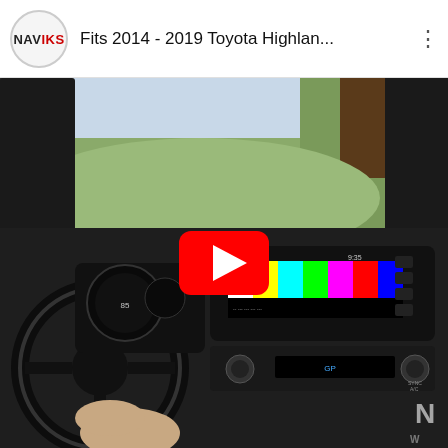[Figure (screenshot): YouTube video thumbnail header bar showing NAVIKS logo (circle with NAV in black and IKS in red), title text 'Fits 2014 - 2019 Toyota Highlan...' and three-dot menu icon]
[Figure (photo): YouTube video thumbnail showing interior of a Toyota Highlander/Tacoma from driver perspective. Dashboard and infotainment screen visible showing color bars test pattern. A large YouTube red play button overlay is centered on the image. Driver's hand visible on steering wheel. Outdoor scenery visible through windshield. NAVIKS watermark in bottom right corner.]